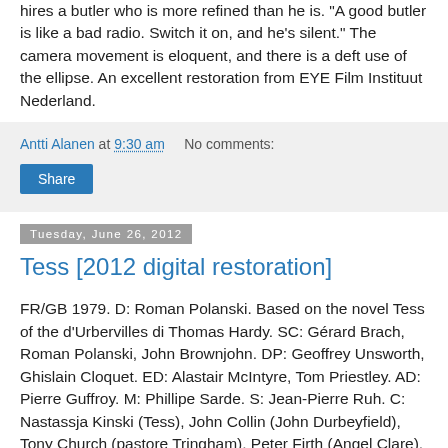hires a butler who is more refined than he is. "A good butler is like a bad radio. Switch it on, and he's silent." The camera movement is eloquent, and there is a deft use of the ellipse. An excellent restoration from EYE Film Instituut Nederland.
Antti Alanen at 9:30 am   No comments:
Share
Tuesday, June 26, 2012
Tess [2012 digital restoration]
FR/GB 1979. D: Roman Polanski. Based on the novel Tess of the d'Urbervilles di Thomas Hardy. SC: Gérard Brach, Roman Polanski, John Brownjohn. DP: Geoffrey Unsworth, Ghislain Cloquet. ED: Alastair McIntyre, Tom Priestley. AD: Pierre Guffroy. M: Phillipe Sarde. S: Jean-Pierre Ruh. C: Nastassja Kinski (Tess), John Collin (John Durbeyfield), Tony Church (pastore Tringham), Peter Firth (Angel Clare), John Bett (Felix Clare), Tom Chadbon (Cuthbert Clare), Rosemary Martin (Mrs. Durbeyfield), Leight Lawson (Alec d'Urberville).